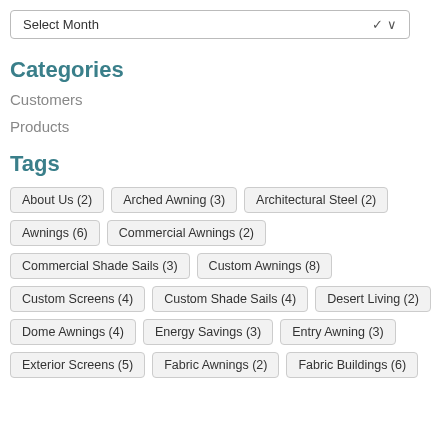Select Month
Categories
Customers
Products
Tags
About Us (2)
Arched Awning (3)
Architectural Steel (2)
Awnings (6)
Commercial Awnings (2)
Commercial Shade Sails (3)
Custom Awnings (8)
Custom Screens (4)
Custom Shade Sails (4)
Desert Living (2)
Dome Awnings (4)
Energy Savings (3)
Entry Awning (3)
Exterior Screens (5)
Fabric Awnings (2)
Fabric Buildings (6)